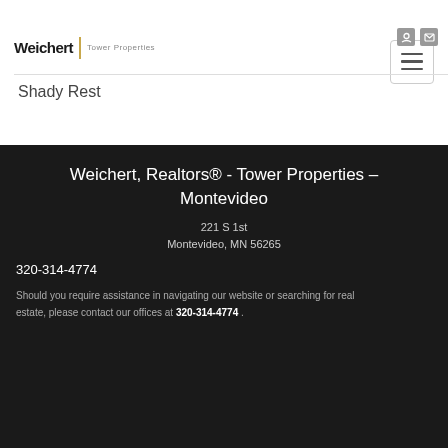[Figure (logo): Weichert Realtors Tower Properties logo with yellow divider bar]
Shady Rest
Weichert, Realtors® - Tower Properties - Montevideo
221 S 1st
Montevideo, MN 56265
320-314-4774
Should you require assistance in navigating our website or searching for real estate, please contact our offices at 320-314-4774 .